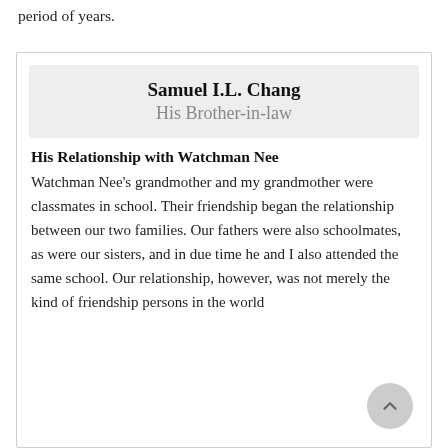period of years.
Samuel I.L. Chang
His Brother-in-law
His Relationship with Watchman Nee
Watchman Nee's grandmother and my grandmother were classmates in school. Their friendship began the relationship between our two families. Our fathers were also schoolmates, as were our sisters, and in due time he and I also attended the same school. Our relationship, however, was not merely the kind of friendship persons in the world